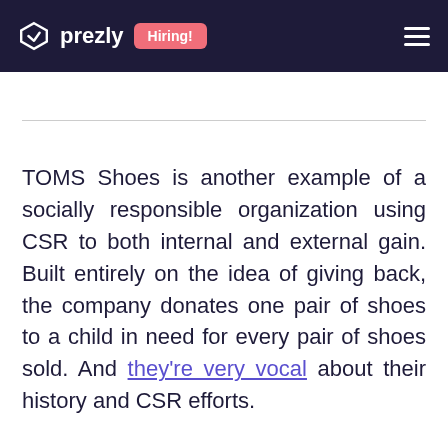prezly | Hiring!
TOMS Shoes is another example of a socially responsible organization using CSR to both internal and external gain. Built entirely on the idea of giving back, the company donates one pair of shoes to a child in need for every pair of shoes sold. And they're very vocal about their history and CSR efforts.